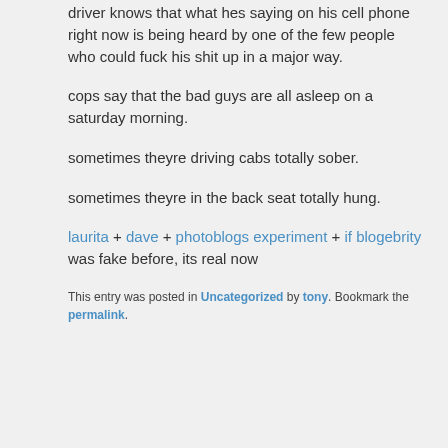driver knows that what hes saying on his cell phone right now is being heard by one of the few people who could fuck his shit up in a major way.
cops say that the bad guys are all asleep on a saturday morning.
sometimes theyre driving cabs totally sober.
sometimes theyre in the back seat totally hung.
laurita + dave + photoblogs experiment + if blogebrity was fake before, its real now
This entry was posted in Uncategorized by tony. Bookmark the permalink.